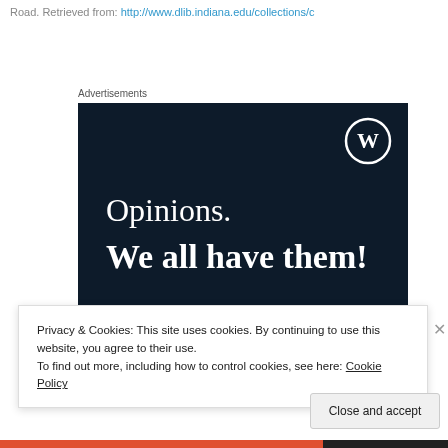Road. Retrieved from: http://www.dlib.indiana.edu/collections/c
Advertisements
[Figure (illustration): WordPress advertisement banner with dark navy blue background. Shows WordPress logo (W in circle) at top right. Text reads 'Opinions. We all have them!' in white serif and bold fonts. Pink button at bottom left, white circle element at bottom right.]
Privacy & Cookies: This site uses cookies. By continuing to use this website, you agree to their use.
To find out more, including how to control cookies, see here: Cookie Policy